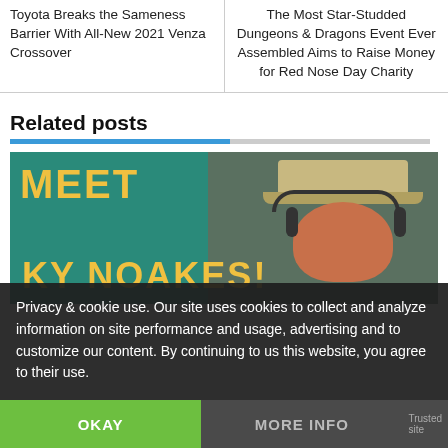Toyota Breaks the Sameness Barrier With All-New 2021 Venza Crossover
The Most Star-Studded Dungeons & Dragons Event Ever Assembled Aims to Raise Money for Red Nose Day Charity
Related posts
[Figure (photo): Promotional image with text 'MEET KY NOAKES!' on teal background with a person wearing a cap and headphones on the right side]
Privacy & cookie use. Our site uses cookies to collect and analyze information on site performance and usage, advertising and to customize our content. By continuing to us this website, you agree to their use.
OKAY
MORE INFO
Trusted site